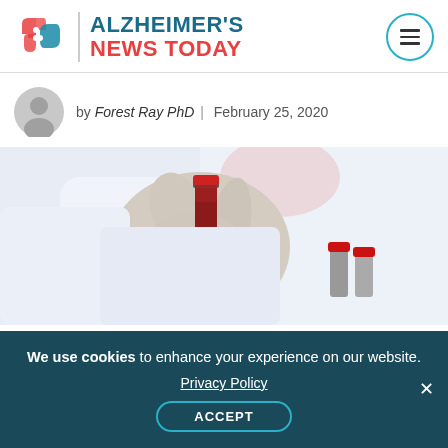ALZHEIMER'S NEWS TODAY
by Forest Ray PhD | February 25, 2020
[Figure (photo): A person in a white lab coat and white latex gloves holding a small blood sample vial with red liquid. Additional red-capped vials visible in the background.]
We use cookies to enhance your experience on our website. Privacy Policy ACCEPT